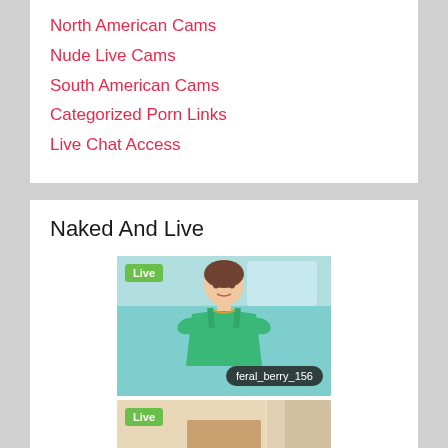North American Cams
Nude Live Cams
South American Cams
Categorized Porn Links
Live Chat Access
Naked And Live
[Figure (photo): Live cam thumbnail showing a young woman in a green top in a car, with 'Live' badge and username 'feral_berry_156']
[Figure (photo): Live cam thumbnail showing a person from waist down wearing beige/tan clothing, with 'Live' badge]